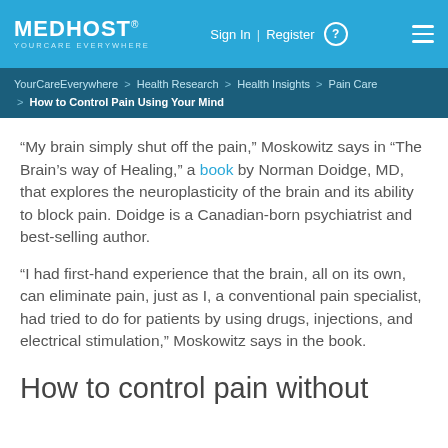MEDHOST® YOURCARE EVERYWHERE | Sign In | Register
YourCareEverywhere > Health Research > Health Insights > Pain Care > How to Control Pain Using Your Mind
“My brain simply shut off the pain,” Moskowitz says in “The Brain’s way of Healing,” a book by Norman Doidge, MD, that explores the neuroplasticity of the brain and its ability to block pain. Doidge is a Canadian-born psychiatrist and best-selling author.
“I had first-hand experience that the brain, all on its own, can eliminate pain, just as I, a conventional pain specialist, had tried to do for patients by using drugs, injections, and electrical stimulation,” Moskowitz says in the book.
How to control pain without